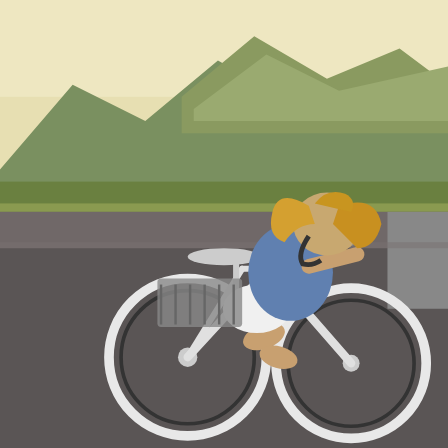[Figure (photo): Circular cropped photo of a woman with long blonde hair riding a white bicycle on a road, wearing a blue shirt and white ripped shorts. Mountains and greenery visible in the background under bright sky.]
Kids and Hybrid Bikes
Bike a little old and in need of servicing, no problem! We